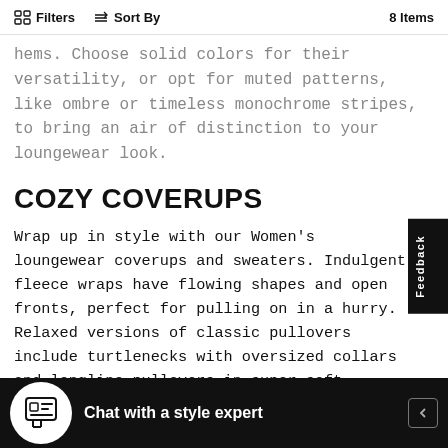Filters   Sort By   8 Items
hems. Choose solid colors for their versatility, or opt for muted patterns, like ombre or timeless monochrome stripes, to bring an air of distinction to your loungewear look.
COZY COVERUPS
Wrap up in style with our Women's loungewear coverups and sweaters. Indulgent fleece wraps have flowing shapes and open fronts, perfect for pulling on in a hurry. Relaxed versions of classic pullovers include turtlenecks with oversized collars and longline pullovers in super soft brushed fabric. Explore strikingly simple designs that pair perfectly with both plain and patterned separates, or turn to our ruanas in of-the- l-inspired
Chat with a style expert